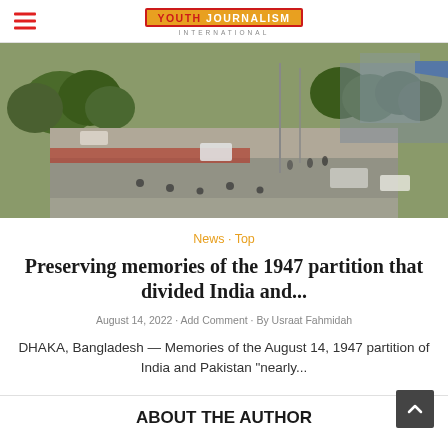Youth Journalism International
[Figure (photo): Aerial view of a busy street intersection in Dhaka, Bangladesh, with motorcycles, rickshaws, cars, and pedestrians, surrounded by trees and buildings.]
News · Top
Preserving memories of the 1947 partition that divided India and...
August 14, 2022 · Add Comment · By Usraat Fahmidah
DHAKA, Bangladesh — Memories of the August 14, 1947 partition of India and Pakistan "nearly...
ABOUT THE AUTHOR